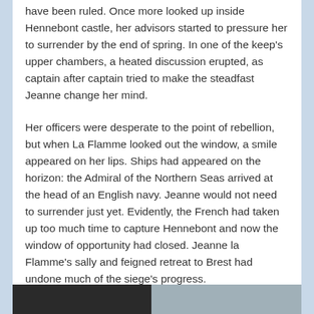have been ruled. Once more looked up inside Hennebont castle, her advisors started to pressure her to surrender by the end of spring. In one of the keep's upper chambers, a heated discussion erupted, as captain after captain tried to make the steadfast Jeanne change her mind.
Her officers were desperate to the point of rebellion, but when La Flamme looked out the window, a smile appeared on her lips. Ships had appeared on the horizon: the Admiral of the Northern Seas arrived at the head of an English navy. Jeanne would not need to surrender just yet. Evidently, the French had taken up too much time to capture Hennebont and now the window of opportunity had closed. Jeanne la Flamme's sally and feigned retreat to Brest had undone much of the siege's progress.
[Figure (photo): Partial image strip at the bottom of the page showing a dark left section and a lighter grey-blue right section, likely a historical image.]